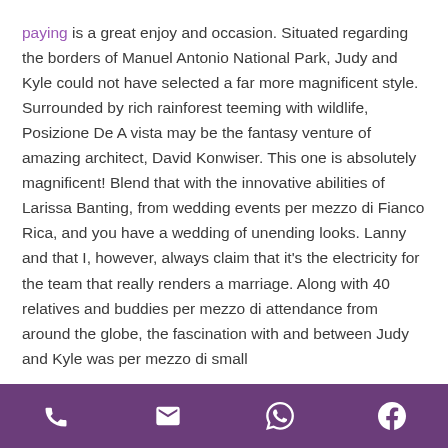paying is a great enjoy and occasion. Situated regarding the borders of Manuel Antonio National Park, Judy and Kyle could not have selected a far more magnificent style. Surrounded by rich rainforest teeming with wildlife, Posizione De A vista may be the fantasy venture of amazing architect, David Konwiser. This one is absolutely magnificent! Blend that with the innovative abilities of Larissa Banting, from wedding events per mezzo di Fianco Rica, and you have a wedding of unending looks. Lanny and that I, however, always claim that it's the electricity for the team that really renders a marriage. Along with 40 relatives and buddies per mezzo di attendance from around the globe, the fascination with and between Judy and Kyle was per mezzo di small
[phone icon] [email icon] [whatsapp icon] [facebook icon]